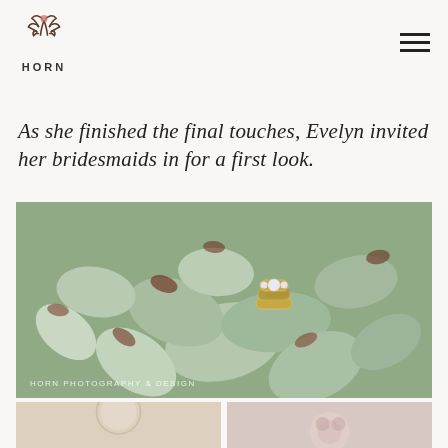HORN
As she finished the final touches, Evelyn invited her bridesmaids in for a first look.
[Figure (photo): Close-up macro photo of succulent plant leaves (green and gray with reddish-brown tips) with gold wedding rings resting on the leaves. Watermark reads 'HORN PHOTOGRAPHY & DESIGN'.]
[Figure (photo): Bottom-left partial photo, appears to show a clock or round decorative item with light warm tones.]
[Figure (photo): Bottom-right partial photo, appears to show a floral or decorative element with muted pink and cream tones.]